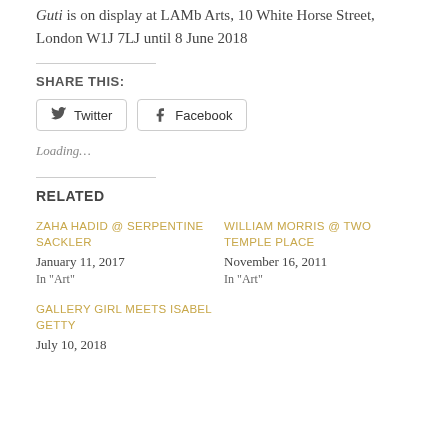Guti is on display at LAMb Arts, 10 White Horse Street, London W1J 7LJ until 8 June 2018
SHARE THIS:
Twitter | Facebook (share buttons)
Loading...
RELATED
ZAHA HADID @ SERPENTINE SACKLER
January 11, 2017
In "Art"
WILLIAM MORRIS @ TWO TEMPLE PLACE
November 16, 2011
In "Art"
GALLERY GIRL MEETS ISABEL GETTY
July 10, 2018